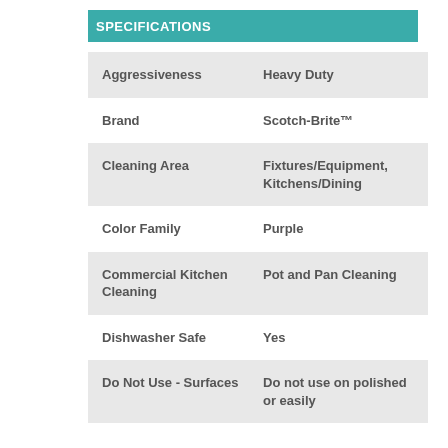SPECIFICATIONS
| Specification | Value |
| --- | --- |
| Aggressiveness | Heavy Duty |
| Brand | Scotch-Brite™ |
| Cleaning Area | Fixtures/Equipment, Kitchens/Dining |
| Color Family | Purple |
| Commercial Kitchen Cleaning | Pot and Pan Cleaning |
| Dishwasher Safe | Yes |
| Do Not Use - Surfaces | Do not use on polished or easily |